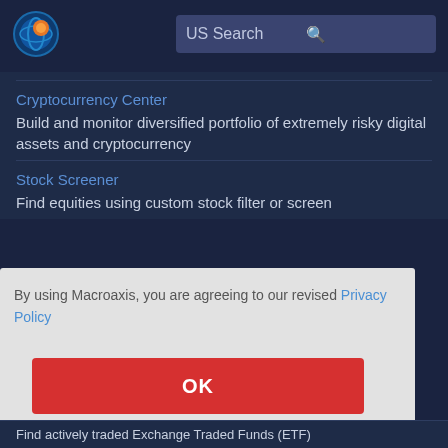[Figure (logo): Macroaxis logo - orange and blue globe icon]
US Search
Cryptocurrency Center
Build and monitor diversified portfolio of extremely risky digital assets and cryptocurrency
Stock Screener
Find equities using custom stock filter or screen
By using Macroaxis, you are agreeing to our revised Privacy Policy
OK
Find actively traded Exchange Traded Funds (ETF)